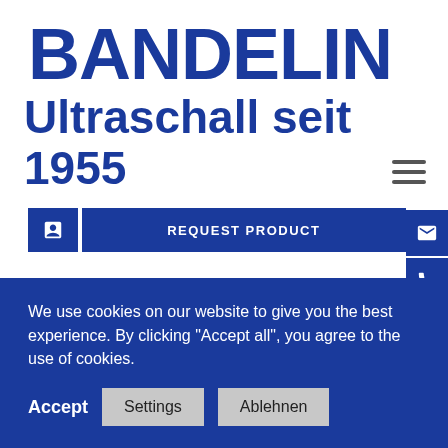[Figure (logo): BANDELIN company logo in bold dark blue text]
Ultraschall seit 1955
[Figure (screenshot): Hamburger menu icon (three horizontal lines) in the top right area]
[Figure (screenshot): REQUEST PRODUCT button bar with blue square icon button and blue rectangle button]
4 in stock
ADD ACCESSORIES
We use cookies on our website to give you the best experience. By clicking "Accept all", you agree to the use of cookies.
Accept
Settings
Ablehnen